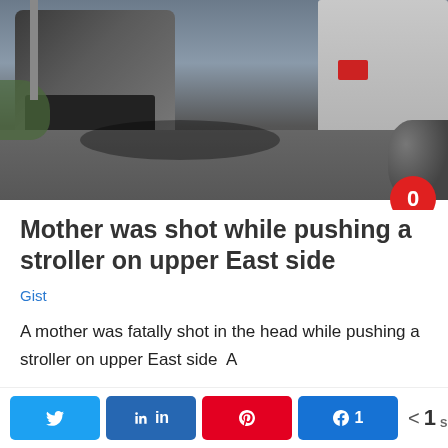[Figure (photo): Street scene showing a dark SUV/van on the left and a white tow truck on the right, with a road in the background. A red speech bubble with '0' is overlaid in the bottom-right corner of the image.]
Mother was shot while pushing a stroller on upper East side
Gist
A mother was fatally shot in the head while pushing a stroller on upper East side  A 30...